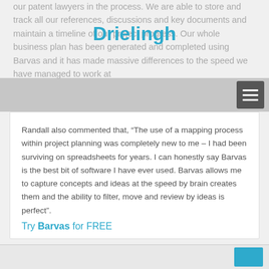Drielingh
our patent lawyers in the process. We are able to store and track all our references, discussions and key documents and maintain a timeline of our project progress. Our whole business plan has been generated and completed using Barvas and it has made massive differences to the speed we have managed to work at
Randall also commented that, “The use of a mapping process within project planning was completely new to me – I had been surviving on spreadsheets for years. I can honestly say Barvas is the best bit of software I have ever used. Barvas allows me to capture concepts and ideas at the speed by brain creates them and the ability to filter, move and review by ideas is perfect”.
Try Barvas for FREE